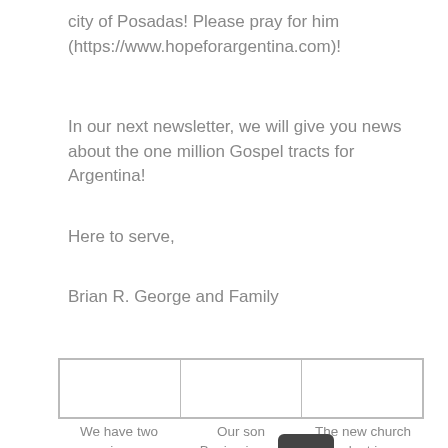city of Posadas! Please pray for him (https://www.hopeforargentina.com)!
In our next newsletter, we will give you news about the one million Gospel tracts for Argentina!
Here to serve,
Brian R. George and Family
|  |  |  |
We have two services on Sundays to
Our son Benjamin and his wife Bernice
The new church plant in Monteros